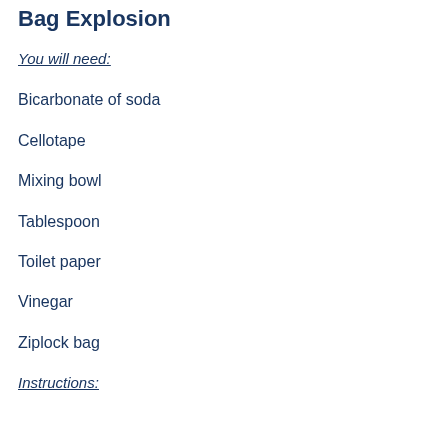Bag Explosion
You will need:
Bicarbonate of soda
Cellotape
Mixing bowl
Tablespoon
Toilet paper
Vinegar
Ziplock bag
Instructions: